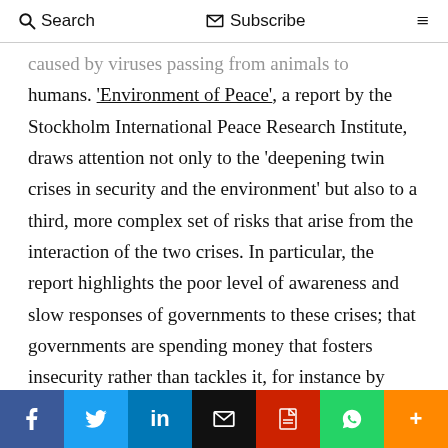Search   Subscribe   ≡
caused by viruses passing from animals to humans. 'Environment of Peace', a report by the Stockholm International Peace Research Institute, draws attention not only to the 'deepening twin crises in security and the environment' but also to a third, more complex set of risks that arise from the interaction of the two crises. In particular, the report highlights the poor level of awareness and slow responses of governments to these crises; that governments are spending money that fosters insecurity rather than tackles it, for instance by paying subsidies to fossil fuel companies; and that countries with
f  Twitter  in  Email  PDF  WhatsApp  +